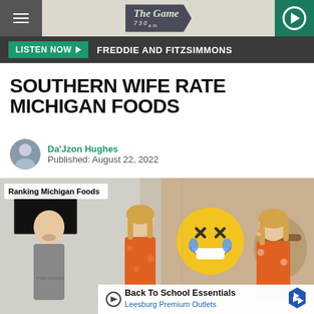The Game 730am — navigation header with menu, logo, and play button
LISTEN NOW ▶  FREDDIE AND FITZSIMMONS
SOUTHERN WIFE RATE MICHIGAN FOODS
Da'Jzon Hughes
Published: August 22, 2022
[Figure (photo): Video thumbnail showing a man and two women in orange floral sweatshirts tasting foods, with 'Ranking Michigan Foods' label and a laughing/crying emoji overlay]
Back To School Essentials
Leesburg Premium Outlets